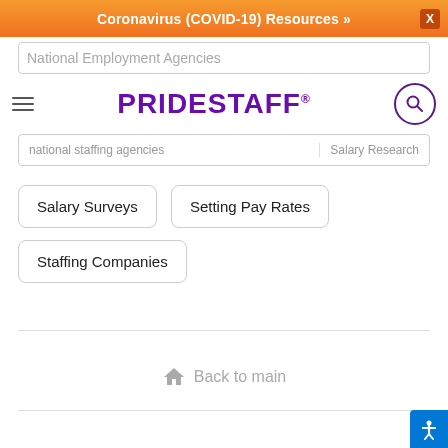Coronavirus (COVID-19) Resources »
[Figure (logo): PrideStaff logo in purple bold text]
National Employment Agencies
national staffing agencies | Salary Research
Salary Surveys
Setting Pay Rates
Staffing Companies
Back to main